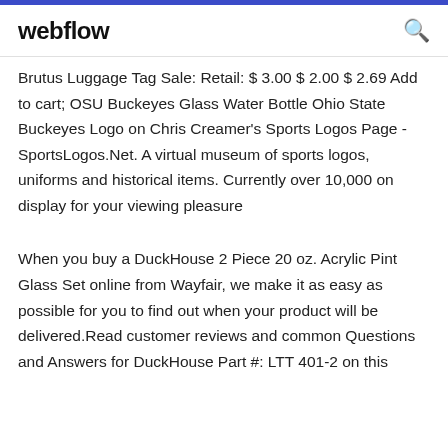webflow
Brutus Luggage Tag Sale: Retail: $ 3.00 $ 2.00 $ 2.69 Add to cart; OSU Buckeyes Glass Water Bottle Ohio State Buckeyes Logo on Chris Creamer's Sports Logos Page - SportsLogos.Net. A virtual museum of sports logos, uniforms and historical items. Currently over 10,000 on display for your viewing pleasure
When you buy a DuckHouse 2 Piece 20 oz. Acrylic Pint Glass Set online from Wayfair, we make it as easy as possible for you to find out when your product will be delivered.Read customer reviews and common Questions and Answers for DuckHouse Part #: LTT 401-2 on this